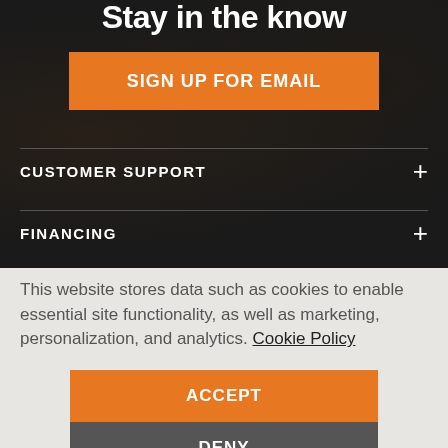Stay in the know
SIGN UP FOR EMAIL
CUSTOMER SUPPORT
FINANCING
This website stores data such as cookies to enable essential site functionality, as well as marketing, personalization, and analytics. Cookie Policy
ACCEPT
DENY